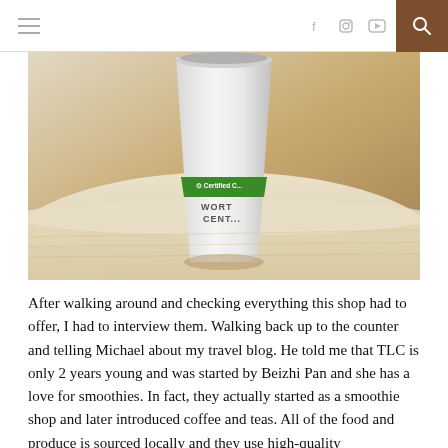Navigation bar with hamburger menu, social icons (Facebook, Instagram, YouTube), and search button
[Figure (photo): Close-up photo of a white paper cup with a green certified band label reading 'Certified C...' and 'WORT CENT...' sitting on a light wooden table with blurred background.]
After walking around and checking everything this shop had to offer, I had to interview them. Walking back up to the counter and telling Michael about my travel blog. He told me that TLC is only 2 years young and was started by Beizhi Pan and she has a love for smoothies. In fact, they actually started as a smoothie shop and later introduced coffee and teas. All of the food and produce is sourced locally and they use high-quality